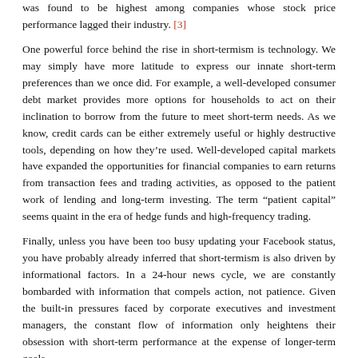was found to be highest among companies whose stock price performance lagged their industry. [3]
One powerful force behind the rise in short-termism is technology. We may simply have more latitude to express our innate short-term preferences than we once did. For example, a well-developed consumer debt market provides more options for households to act on their inclination to borrow from the future to meet short-term needs. As we know, credit cards can be either extremely useful or highly destructive tools, depending on how they're used. Well-developed capital markets have expanded the opportunities for financial companies to earn returns from transaction fees and trading activities, as opposed to the patient work of lending and long-term investing. The term “patient capital” seems quaint in the era of hedge funds and high-frequency trading.
Finally, unless you have been too busy updating your Facebook status, you have probably already inferred that short-termism is also driven by informational factors. In a 24-hour news cycle, we are constantly bombarded with information that compels action, not patience. Given the built-in pressures faced by corporate executives and investment managers, the constant flow of information only heightens their obsession with short-term performance at the expense of longer-term goals.
The Role of Short-Termism in the Financial Crisis